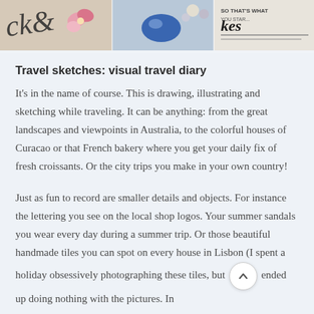[Figure (photo): A colorful collage strip of travel-related photos at the top of the page, showing handwritten lettering, flowers, jewelry, and text snippets.]
Travel sketches: visual travel diary
It's in the name of course. This is drawing, illustrating and sketching while traveling. It can be anything: from the great landscapes and viewpoints in Australia, to the colorful houses of Curacao or that French bakery where you get your daily fix of fresh croissants. Or the city trips you make in your own country!
Just as fun to record are smaller details and objects. For instance the lettering you see on the local shop logos. Your summer sandals you wear every day during a summer trip. Or those beautiful handmade tiles you can spot on every house in Lisbon (I spent a holiday obsessively photographing these tiles, but ended up doing nothing with the pictures. In